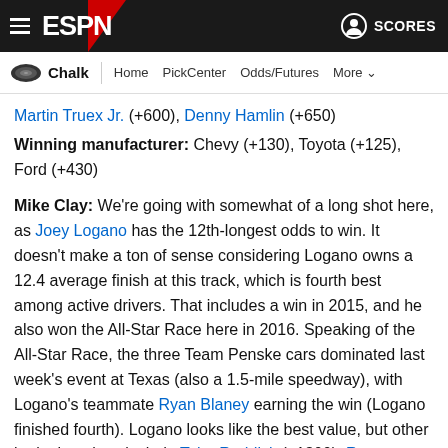ESPN Chalk navigation bar with ESPN logo, Hamburger menu, SCORES
Chalk | Home | PickCenter | Odds/Futures | More
Martin Truex Jr. (+600), Denny Hamlin (+650)
Winning manufacturer: Chevy (+130), Toyota (+125), Ford (+430)
Mike Clay: We're going with somewhat of a long shot here, as Joey Logano has the 12th-longest odds to win. It doesn't make a ton of sense considering Logano owns a 12.4 average finish at this track, which is fourth best among active drivers. That includes a win in 2015, and he also won the All-Star Race here in 2016. Speaking of the All-Star Race, the three Team Penske cars dominated last week's event at Texas (also a 1.5-mile speedway), with Logano's teammate Ryan Blaney earning the win (Logano finished fourth). Logano looks like the best value, but other intriguing plays include Tyler Reddick (+1800), Ryan Blaney (+1000), Martin Truex Jr. (+600) and Chase Elliott